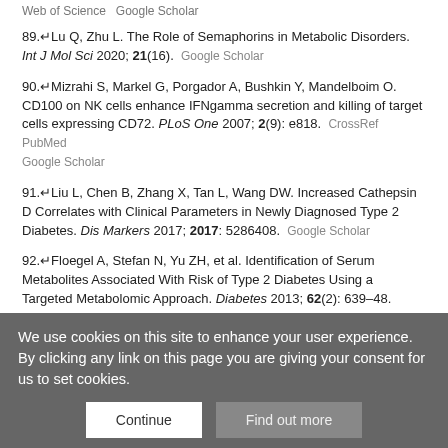Web of Science   Google Scholar
89. Lu Q, Zhu L. The Role of Semaphorins in Metabolic Disorders. Int J Mol Sci 2020; 21(16). Google Scholar
90. Mizrahi S, Markel G, Porgador A, Bushkin Y, Mandelboim O. CD100 on NK cells enhance IFNgamma secretion and killing of target cells expressing CD72. PLoS One 2007; 2(9): e818. CrossRef PubMed Google Scholar
91. Liu L, Chen B, Zhang X, Tan L, Wang DW. Increased Cathepsin D Correlates with Clinical Parameters in Newly Diagnosed Type 2 Diabetes. Dis Markers 2017; 2017: 5286408. Google Scholar
92. Floegel A, Stefan N, Yu ZH, et al. Identification of Serum Metabolites Associated With Risk of Type 2 Diabetes Using a Targeted Metabolomic Approach. Diabetes 2013; 62(2): 639–48. Abstract/FREE Full Text
We use cookies on this site to enhance your user experience. By clicking any link on this page you are giving your consent for us to set cookies.